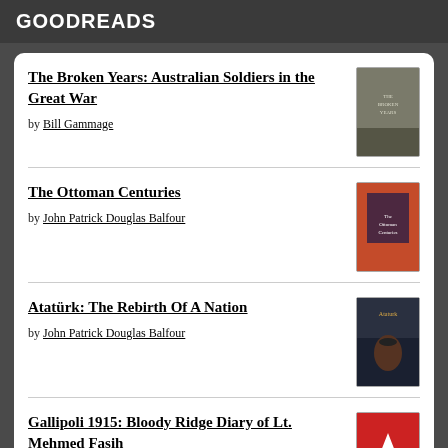GOODREADS
The Broken Years: Australian Soldiers in the Great War
by Bill Gammage
The Ottoman Centuries
by John Patrick Douglas Balfour
Atatürk: The Rebirth Of A Nation
by John Patrick Douglas Balfour
Gallipoli 1915: Bloody Ridge Diary of Lt. Mehmed Fasih
by Mehmed Fasih Bey
Gallipoli 1915: Tribute To Those Who Were There